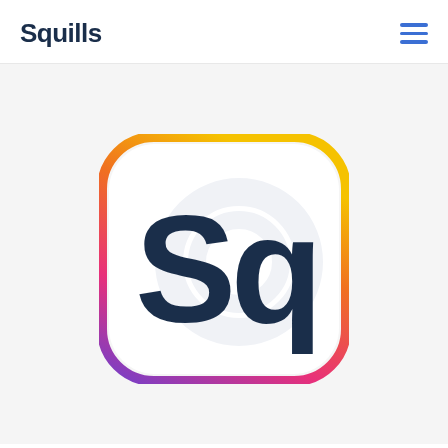Squills
[Figure (logo): Squills app icon: a rounded square with a gradient border going from yellow at top to orange to pink to purple/blue at bottom-left. Inside on white background are large dark navy blue letters 'Sq' styled as a logo mark, with a faint circular swoosh/lens overlay graphic behind the letters.]